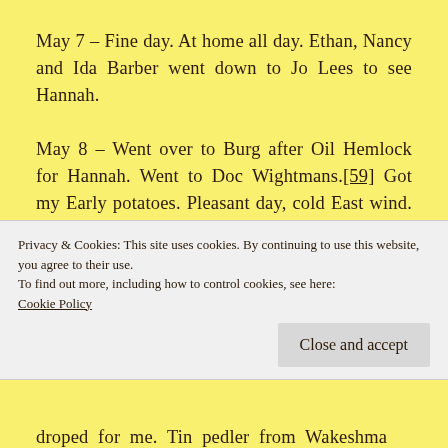May 7 – Fine day. At home all day. Ethan, Nancy and Ida Barber went down to Jo Lees to see Hannah.
May 8 – Went over to Burg after Oil Hemlock for Hannah. Went to Doc Wightmans.[59] Got my Early potatoes. Pleasant day, cold East wind. Frost this morning.
May 9 – Cold East wind, some frost. Went down
Privacy & Cookies: This site uses cookies. By continuing to use this website, you agree to their use.
To find out more, including how to control cookies, see here:
Cookie Policy
droped for me. Tin pedler from Wakeshma